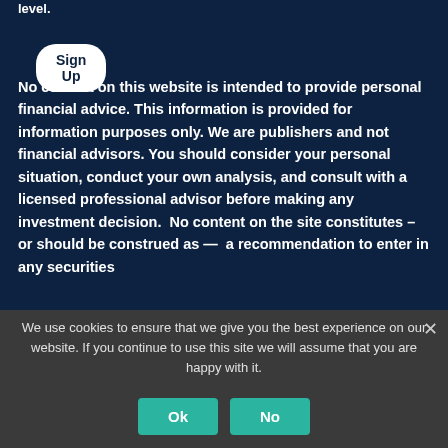level.
Sign Up
No content on this website is intended to provide personal financial advice. This information is provided for information purposes only. We are publishers and not financial advisors. You should consider your personal situation, conduct your own analysis, and consult with a licensed professional advisor before making any investment decision.  No content on the site constitutes – or should be construed as —  a recommendation to enter in any securities
We use cookies to ensure that we give you the best experience on our website. If you continue to use this site we will assume that you are happy with it.
Ok
No